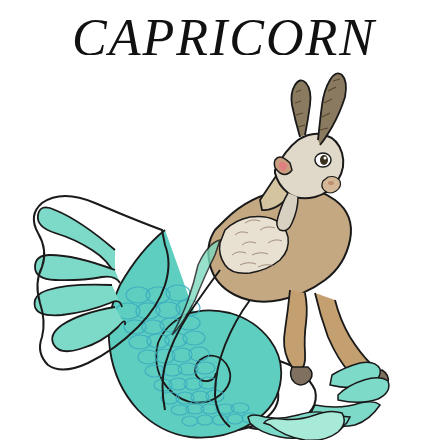CAPRICORN
[Figure (illustration): Illustrated Capricorn zodiac symbol depicting a sea-goat: a creature with the head, forelegs and upper body of a white/grey goat with curved striped horns, and the lower body and tail of a fish with turquoise/teal scales and fins. The creature is shown leaping or swimming, with the curled fish tail wrapping beneath the body. The illustration is detailed with blue-tinted scales, finned tail ends, and dark outlines on a white background.]